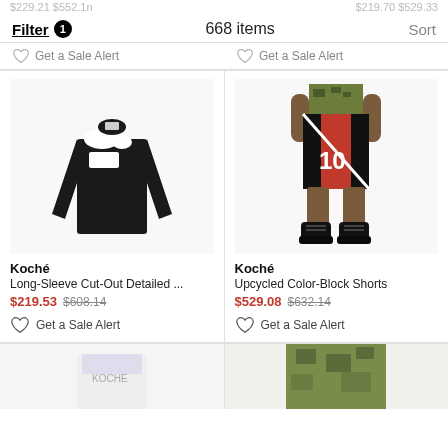Filter 1    668 items    Sort
Get a Sale Alert    Get a Sale Alert
[Figure (photo): Black long-sleeve cut-out detailed top from Koché]
[Figure (photo): Man wearing red/black/camo Koché Upcycled Color-Block Shorts with black boots]
Koché
Long-Sleeve Cut-Out Detailed ...
$219.53  $608.14
Get a Sale Alert
Koché
Upcycled Color-Block Shorts
$529.08  $632.14
Get a Sale Alert
[Figure (photo): Partial view of white product at bottom left]
[Figure (photo): Partial view of camo/army product at bottom right]